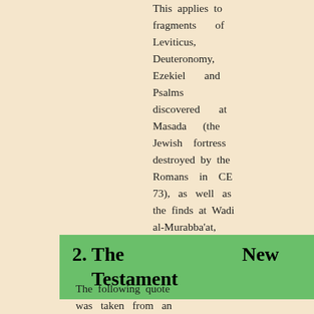This applies to fragments of Leviticus, Deuteronomy, Ezekiel and Psalms discovered at Masada (the Jewish fortress destroyed by the Romans in CE 73), as well as the finds at Wadi al-Murabba'at, the latest date of which is CE 135.
2. The New Testament
The following quote was taken from an online search facility